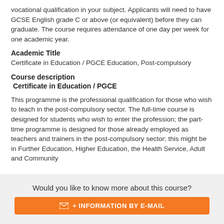vocational qualification in your subject. Applicants will need to have GCSE English grade C or above (or equivalent) before they can graduate. The course requires attendance of one day per week for one academic year.
Academic Title
Certificate in Education / PGCE Education, Post-compulsory
Course description
Certificate in Education / PGCE
This programme is the professional qualification for those who wish to teach in the post-compulsory sector. The full-time course is designed for students who wish to enter the profession; the part-time programme is designed for those already employed as teachers and trainers in the post-compulsory sector; this might be in Further Education, Higher Education, the Health Service, Adult and Community
Would you like to know more about this course?
+ INFORMATION BY E-MAIL